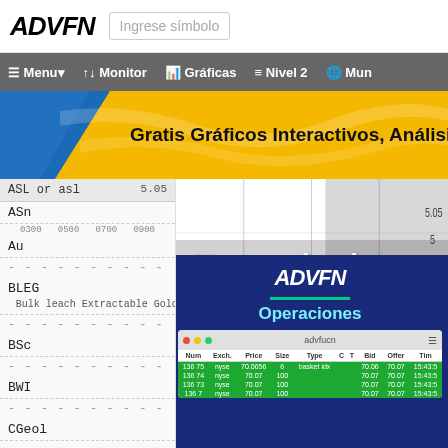[Figure (screenshot): ADVFN financial platform screenshot showing logo, navigation bar with Menu, Monitor, Graficas, Nivel 2, Mun options, a banner with 'Gratis Graficos Interactivos, Analisis Tecn...', a symbol search list showing ASL or asl, ASn, Au, BLEG, BSc, BWI, CGeol, Cm entries, an overlaid chart with price levels, and overlay text 'No puedes hacer dinero sentado en la banca', plus a right panel with ADVFN Operaciones and a mini trading table showing columns Num, Exch, Price, Size, Type, C, T, Bid, Offer, Tim with rows for 13675/13674/13673 nyse trades.]